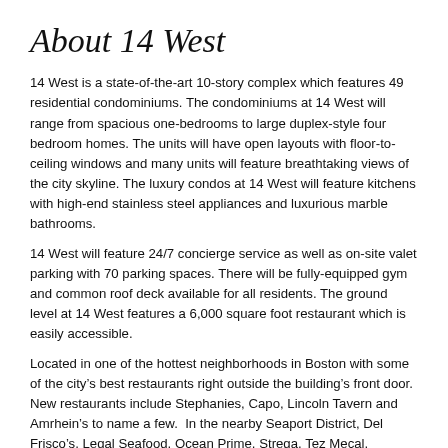About 14 West
14 West is a state-of-the-art 10-story complex which features 49 residential condominiums. The condominiums at 14 West will range from spacious one-bedrooms to large duplex-style four bedroom homes. The units will have open layouts with floor-to-ceiling windows and many units will feature breathtaking views of the city skyline. The luxury condos at 14 West will feature kitchens with high-end stainless steel appliances and luxurious marble bathrooms.
14 West will feature 24/7 concierge service as well as on-site valet parking with 70 parking spaces. There will be fully-equipped gym and common roof deck available for all residents. The ground level at 14 West features a 6,000 square foot restaurant which is easily accessible.
Located in one of the hottest neighborhoods in Boston with some of the city’s best restaurants right outside the building’s front door.  New restaurants include Stephanies, Capo, Lincoln Tavern and Amrhein’s to name a few.  In the nearby Seaport District, Del Frisco’s, Legal Seafood, Ocean Prime, Strega, Tez Mecal, Morton’s &  Maestro’s are a few excellent dining options.  South Boston’s real estate market has exploded in recent years and has seen property values join the highest in the city. One of the oldest and most historic neighborhoods in the US, you can enjoy this area feeling like a Southie local in the hippest part of the Hub.